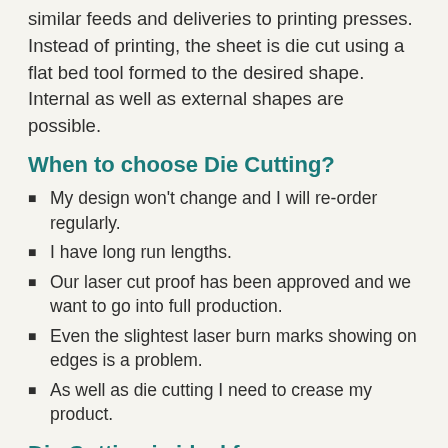similar feeds and deliveries to printing presses. Instead of printing, the sheet is die cut using a flat bed tool formed to the desired shape. Internal as well as external shapes are possible.
When to choose Die Cutting?
My design won't change and I will re-order regularly.
I have long run lengths.
Our laser cut proof has been approved and we want to go into full production.
Even the slightest laser burn marks showing on edges is a problem.
As well as die cutting I need to crease my product.
Die Cutting is ideal for
Postcards
Door Hangers